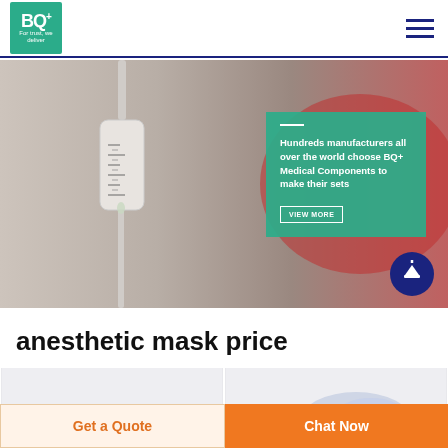[Figure (logo): BQ+ Medical logo — teal green square with BQ+ text and tagline 'For trust, we deliver']
[Figure (photo): Hero banner showing a medical IV drip chamber with measurement markings, blurred background with red object. Overlay teal card reads: 'Hundreds manufacturers all over the world choose BQ+ Medical Components to make their sets' with a VIEW MORE button. Blue circle up-arrow button in bottom right.]
anesthetic mask price
[Figure (photo): Product card 1 — white/grey background anesthetic mask product photo]
[Figure (photo): Product card 2 — white/grey background anesthetic mask product photo showing a blue translucent mask]
Get a Quote
Chat Now